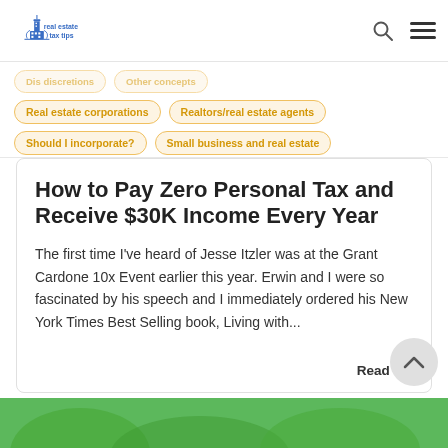real estate tax tips
Real estate corporations
Realtors/real estate agents
Should I incorporate?
Small business and real estate
How to Pay Zero Personal Tax and Receive $30K Income Every Year
The first time I've heard of Jesse Itzler was at the Grant Cardone 10x Event earlier this year. Erwin and I were so fascinated by his speech and I immediately ordered his New York Times Best Selling book, Living with...
Read me